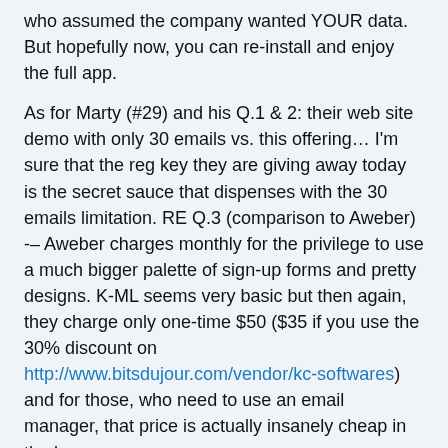who assumed the company wanted YOUR data. But hopefully now, you can re-install and enjoy the full app.
As for Marty (#29) and his Q.1 & 2: their web site demo with only 30 emails vs. this offering… I'm sure that the reg key they are giving away today is the secret sauce that dispenses with the 30 emails limitation. RE Q.3 (comparison to Aweber) -– Aweber charges monthly for the privilege to use a much bigger palette of sign-up forms and pretty designs. K-ML seems very basic but then again, they charge only one-time $50 ($35 if you use the 30% discount on http://www.bitsdujour.com/vendor/kc-softwares) and for those, who need to use an email manager, that price is actually insanely cheap in the long run.
***Tip about using the discount – if you are located in Europe, the price automatically converts to Euros, so if you want to side-step the loss from the FX (1 Euro ~ $1.30 means there is only $2 savings from the discount), just switch the currency to USD at the top-right corner of the payment page and you'll be back in